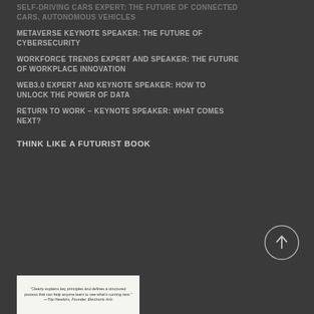SELF-DRIVING CARS EXPERT: THE FUTURE OF CONNECTED CARS, AUTONOMOUS VEHICLES
METAVERSE KEYNOTE SPEAKER: THE FUTURE OF CYBERSECURITY
WORKFORCE TRENDS EXPERT AND SPEAKER: THE FUTURE OF WORKPLACE INNOVATION
WEB3.0 EXPERT AND KEYNOTE SPEAKER: HOW TO UNLOCK THE POWER OF DATA
RETURN TO WORK – KEYNOTE SPEAKER: WHAT COMES NEXT?
THINK LIKE A FUTURIST BOOK
[Figure (illustration): Book cover or promotional image with quote: 'Clearly explains key principles and defines a structured process that can help anyone learn to see what's coming next.' —Trip Hawkins, Founder, Electronic Arts]
[Figure (other): Circle button with upward arrow icon]